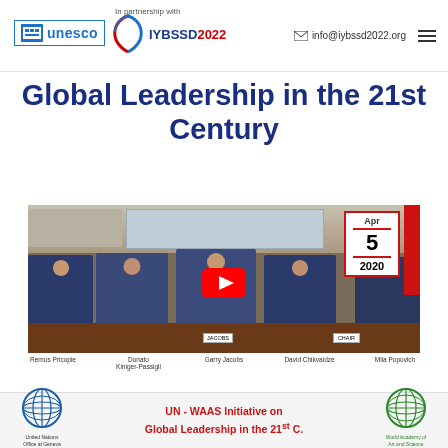In partnership with | UNESCO | IYBSSD2022 | info@iybssd2022.org
Global Leadership in the 21st Century
[Figure (photo): Panel of five people seated at a conference table: Remus Pricopie, Donato Kiniger-Passigli, Garry Jacobs, David Chikvaidze, Mila Popovich. A YouTube play button overlay is visible. Date badge shows Apr 5 2020.]
Remus Pricopie   Donato Kiniger-Passigli   Garry Jacobs   David Chikvaidze   Mila Popovich
[Figure (logo): United Nations Office at Geneva (UNOG) logo and World Academy of Art and Science (WAAS) logo, with text: UN - WAAS Initiative on Global Leadership in the 21st C.]